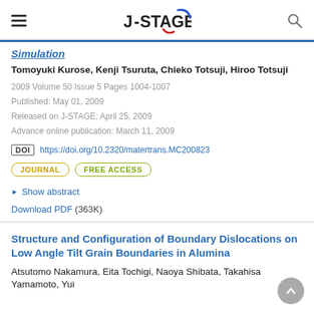J-STAGE
Simulation
Tomoyuki Kurose, Kenji Tsuruta, Chieko Totsuji, Hiroo Totsuji
2009 Volume 50 Issue 5 Pages 1004-1007
Published: May 01, 2009
Released on J-STAGE: April 25, 2009
Advance online publication: March 11, 2009
DOI https://doi.org/10.2320/matertrans.MC200823
JOURNAL   FREE ACCESS
▶ Show abstract
Download PDF (363K)
Structure and Configuration of Boundary Dislocations on Low Angle Tilt Grain Boundaries in Alumina
Atsutomo Nakamura, Eita Tochigi, Naoya Shibata, Takahisa Yamamoto, Yui